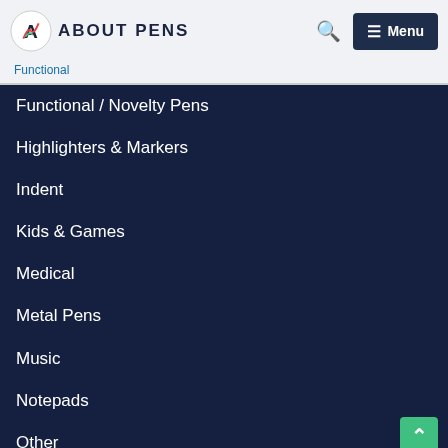About Pens
Functional
Functional / Novelty Pens
Highlighters & Markers
Indent
Kids & Games
Medical
Metal Pens
Music
Notepads
Other
Pen & Notebook Sets
Pen Gift Sets